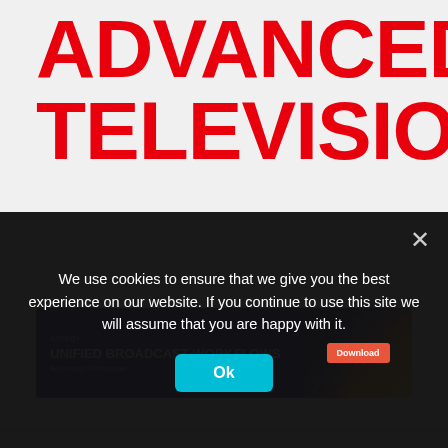ADVANCED TELEVISION
[Figure (screenshot): Amagi advertisement banner: blue background with text 'amagi UNIFIED BROADCAST WORKFLOWS An Amagi Whitepaper' on left side, city lights photo on right side with orange Download button]
[Figure (infographic): Red rounded square hamburger menu button with three white horizontal lines]
We use cookies to ensure that we give you the best experience on our website. If you continue to use this site we will assume that you are happy with it.
Ok